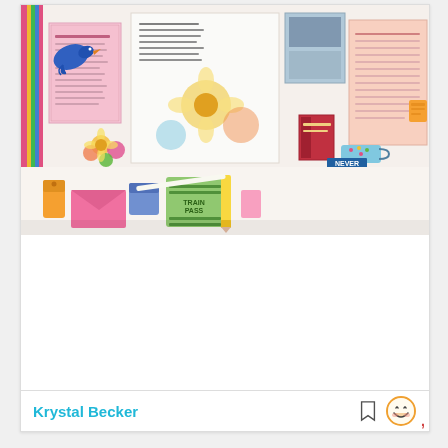[Figure (photo): A colorful scrapbook/journal spread layout with decorative elements including flowers, birds, stickers, handwritten journaling cards, photos, and embellishments. The bottom portion shows crafting supplies including stickers, a pen, and decorative tabs on a white surface.]
Krystal Becker